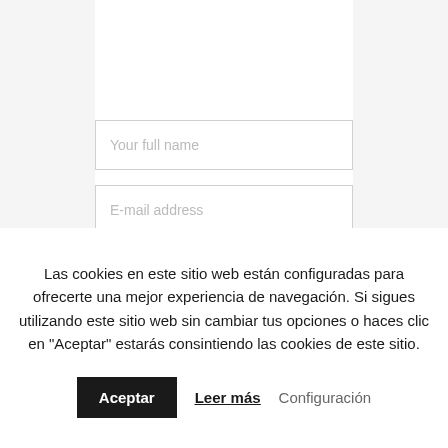[Figure (screenshot): Website form area showing two input fields: 'Your full name' and 'E-mail address' on a light grey background with a white content column]
Las cookies en este sitio web están configuradas para ofrecerte una mejor experiencia de navegación. Si sigues utilizando este sitio web sin cambiar tus opciones o haces clic en 'Aceptar' estarás consintiendo las cookies de este sitio.
Aceptar
Leer más
Configuración